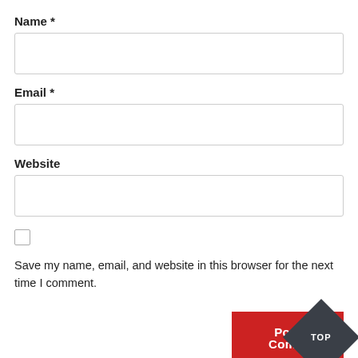Name *
[Figure (other): Empty text input box for Name field]
Email *
[Figure (other): Empty text input box for Email field]
Website
[Figure (other): Empty text input box for Website field]
Save my name, email, and website in this browser for the next time I comment.
Post Comm
[Figure (other): Dark diamond shape badge with text TOP]